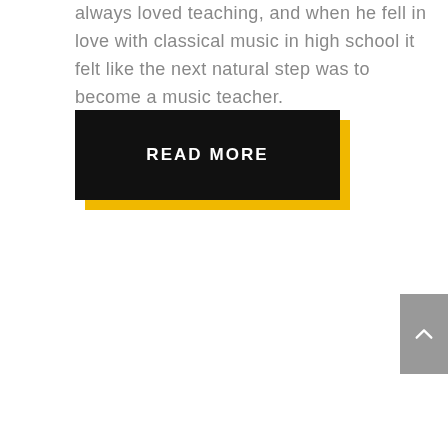always loved teaching, and when he fell in love with classical music in high school it felt like the next natural step was to become a music teacher.
READ MORE